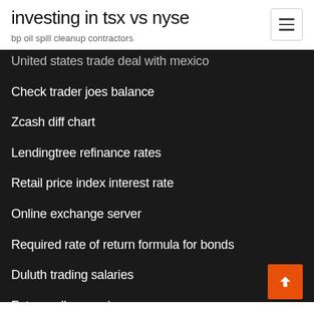investing in tsx vs nyse
bp oil spill cleanup contractors
United states trade deal with mexico
Check trader joes balance
Zcash diff chart
Lendingtree refinance rates
Retail price index interest rate
Online exchange server
Required rate of return formula for bonds
Duluth trading salaries
Future rollover gain
Trading index calls